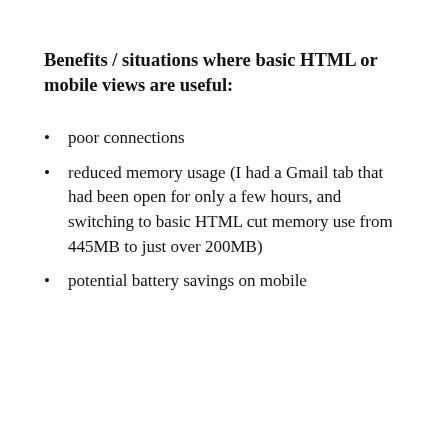Benefits / situations where basic HTML or mobile views are useful:
poor connections
reduced memory usage (I had a Gmail tab that had been open for only a few hours, and switching to basic HTML cut memory use from 445MB to just over 200MB)
potential battery savings on mobile